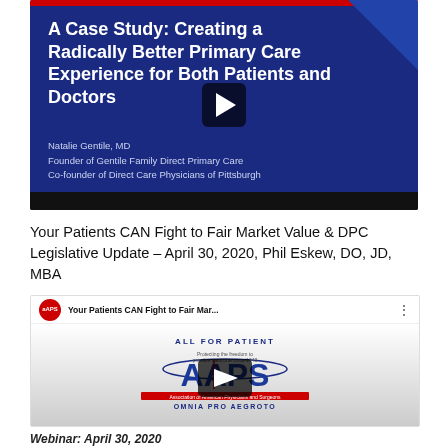[Figure (screenshot): YouTube-style thumbnail for webinar: 'A Case Study: Creating a Radically Better Primary Care Experience for Both Patients and Doctors' by Natalie Gentile, MD, Founder of Gentile Family Direct Primary Care, Co-founder of Direct Care Physicians of Pittsburgh. Dark blue background with red accent bar.]
Your Patients CAN Fight to Fair Market Value & DPC Legislative Update – April 30, 2020, Phil Eskew, DO, JD, MBA
[Figure (screenshot): YouTube video thumbnail for 'Your Patients CAN Fight to Fair Mar...' featuring AAPS (Association of American Physicians and Surgeons) logo with 'ALL FOR PATIENT' text and 'OMNIA PRO AEGROTO' tagline. Play button overlay visible.]
Webinar: April 30, 2020